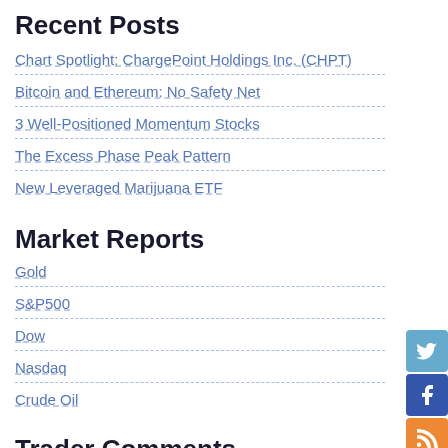Recent Posts
Chart Spotlight: ChargePoint Holdings Inc. (CHPT)
Bitcoin and Ethereum: No Safety Net
3 Well-Positioned Momentum Stocks
The Excess Phase Peak Pattern
New Leveraged Marijuana ETF
Market Reports
Gold
S&P500
Dow
Nasdaq
Crude Oil
Trader Comments
Kevin on Dollar Strength VS Gold Weakness